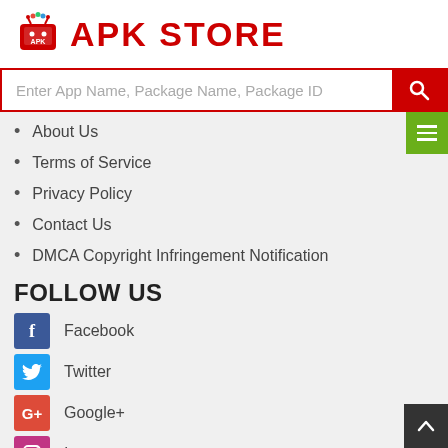[Figure (logo): APK Store logo with Android robot icon and red text 'APK STORE']
[Figure (screenshot): Search bar with placeholder text 'Enter App Name, Package Name, Package ID' and red search button]
About Us
Terms of Service
Privacy Policy
Contact Us
DMCA Copyright Infringement Notification
FOLLOW US
Facebook
Twitter
Google+
Instagram
TOP APPS
TOP GAMES